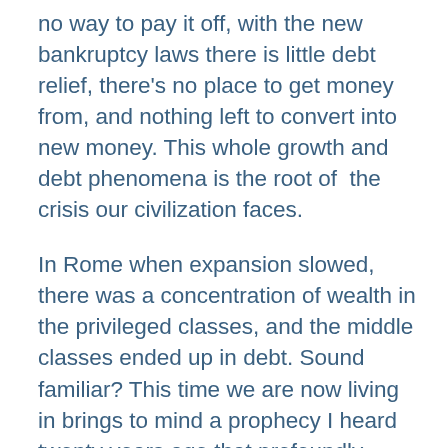no way to pay it off, with the new bankruptcy laws there is little debt relief, there's no place to get money from, and nothing left to convert into new money. This whole growth and debt phenomena is the root of the crisis our civilization faces.
In Rome when expansion slowed, there was a concentration of wealth in the privileged classes, and the middle classes ended up in debt. Sound familiar? This time we are now living in brings to mind a prophecy I heard twenty years ago that profoundly impacted me. It was predicted that globalization was going to create serfs on a global scale, slaves to debt and to money